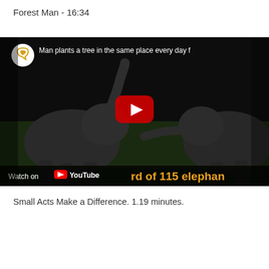Forest Man  - 16:34
[Figure (screenshot): YouTube video embed showing two elephants interacting, with a circular channel icon (speech bubble with heart) in top-left corner, video title 'Man plants a tree in the same place every day f...' in white text at top, a red play button in the center, 'Watch on YouTube' bar at the bottom, and orange text overlay reading 'rd of 115 elephan' partially visible at bottom right.]
Small Acts Make a Difference. 1.19 minutes.